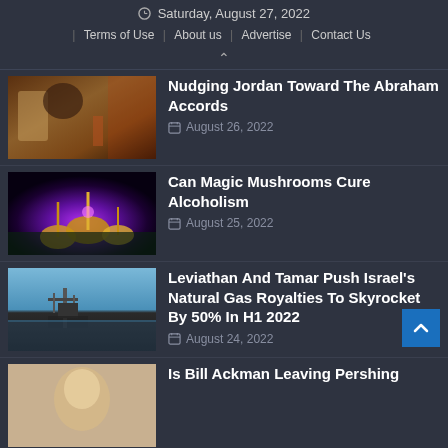Saturday, August 27, 2022 | Terms of Use | About us | Advertise | Contact Us
Nudging Jordan Toward The Abraham Accords — August 26, 2022
Can Magic Mushrooms Cure Alcoholism — August 25, 2022
Leviathan And Tamar Push Israel's Natural Gas Royalties To Skyrocket By 50% In H1 2022 — August 24, 2022
Is Bill Ackman Leaving Pershing